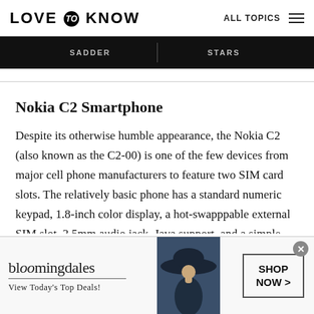LOVE to KNOW  ALL TOPICS
[Figure (screenshot): Dark navigation banner strip showing 'SADDER' and 'STARS' columns separated by a vertical divider]
Nokia C2 Smartphone
Despite its otherwise humble appearance, the Nokia C2 (also known as the C2-00) is one of the few devices from major cell phone manufacturers to feature two SIM card slots. The relatively basic phone has a standard numeric keypad, 1.8-inch color display, a hot-swapppable external SIM slot, 3.5mm audio jack, Java support, and a simple
[Figure (screenshot): Bloomingdale's advertisement banner showing logo, 'View Today's Top Deals!', a woman in a large hat, and 'SHOP NOW >' button]